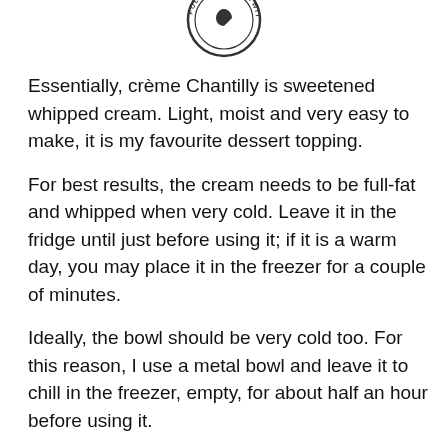[Figure (logo): Circular stamp-style logo with 'FOLLOW ME ON TWITTER' text around the edge, appears upside down/mirrored]
Essentially, crème Chantilly is sweetened whipped cream. Light, moist and very easy to make, it is my favourite dessert topping.
For best results, the cream needs to be full-fat and whipped when very cold. Leave it in the fridge until just before using it; if it is a warm day, you may place it in the freezer for a couple of minutes.
Ideally, the bowl should be very cold too. For this reason, I use a metal bowl and leave it to chill in the freezer, empty, for about half an hour before using it.
Once made, the crème Chantilly can be flavoured with vanilla seeds, cocoa powder, fruit puree, matcha green tea